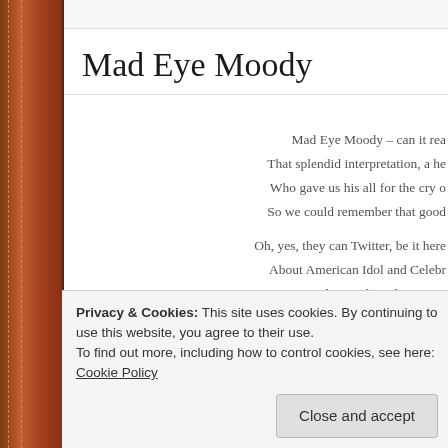Mad Eye Moody
Mad Eye Moody – can it rea
That splendid interpretation, a he
Who gave us his all for the cry o
So we could remember that good

Oh, yes, they can Twitter, be it here
About American Idol and Celebr
But can they replace the genius
Like Rowling and Dahl – or Wilson's s
*
When next you are shopping in Wal
Privacy & Cookies: This site uses cookies. By continuing to use this website, you agree to their use.
To find out more, including how to control cookies, see here: Cookie Policy